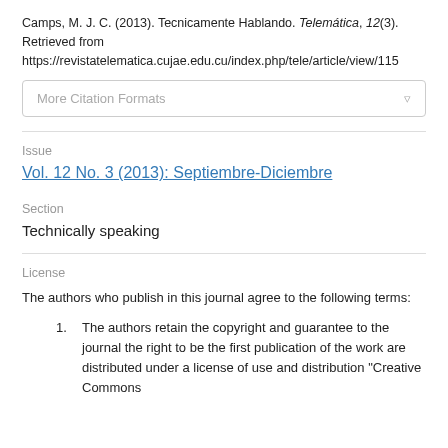Camps, M. J. C. (2013). Tecnicamente Hablando. Telemática, 12(3). Retrieved from https://revistatelematica.cujae.edu.cu/index.php/tele/article/view/115
More Citation Formats
Issue
Vol. 12 No. 3 (2013): Septiembre-Diciembre
Section
Technically speaking
License
The authors who publish in this journal agree to the following terms:
The authors retain the copyright and guarantee to the journal the right to be the first publication of the work are distributed under a license of use and distribution "Creative Commons